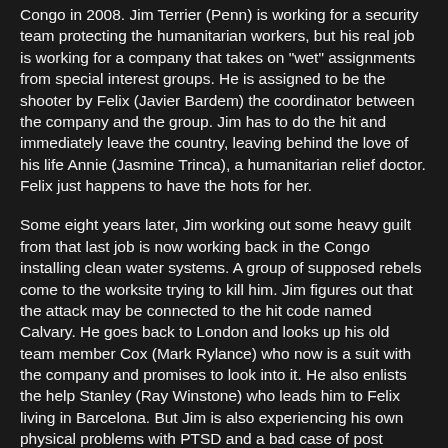Congo in 2008. Jim Terrier (Penn) is working for a security team protecting the humanitarian workers, but his real job is working for a company that takes on "wet" assignments from special interest groups. He is assigned to be the shooter by Felix (Javier Bardem) the coordinator between the company and the group. Jim has to do the hit and immediately leave the country, leaving behind the love of his life Annie (Jasmine Trinca), a humanitarian relief doctor. Felix just happens to have the hots for her.
Some eight years later, Jim working out some heavy guilt from that last job is now working back in the Congo installing clean water systems. A group of supposed rebels come to the worksite trying to kill him. Jim figures out that the attack may be connected to the hit code named Calvary. He goes back to London and looks up his old team member Cox (Mark Rylance) who now is a suit with the company and promises to look into it. He also enlists the help Stanley (Ray Winstone) who leads him to Felix living in Barcelona. But Jim is also experiencing his own physical problems with PTSD and a bad case of post concussion syndrome giving him horrific headaches.